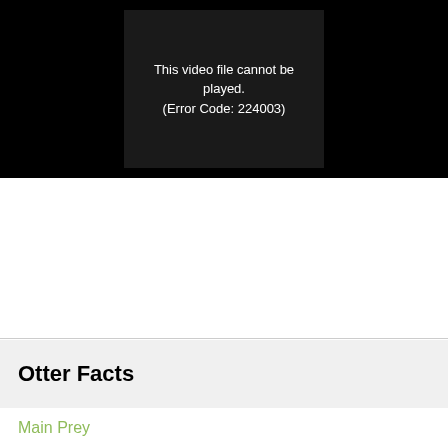[Figure (screenshot): Video player showing error message: 'This video file cannot be played. (Error Code: 224003)' on a dark background]
Otter Facts
Main Prey